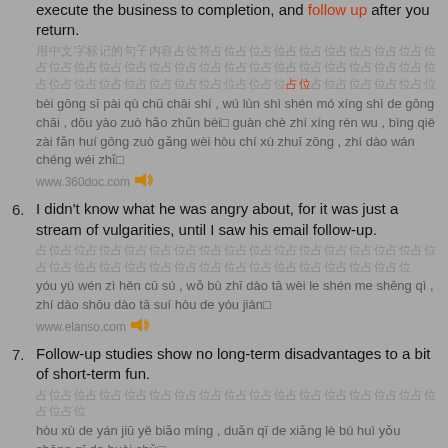When sent out on a business trip of any kind, prepare for it, execute the business to completion, and follow up after you return.
[Chinese characters]
bèi gōng sī pài qù chū chāi shí , wú lùn shì shén mó xíng shì de gōng chāi , dōu yào zuò hǎo zhǔn bèi guàn chè zhí xíng rèn wu , bìng qiě zài fǎn huí gōng zuò gǎng wèi hòu chí xù zhuī zōng , zhí dào wán chéng wéi zhǐ。
www.360doc.com
6. I didn't know what he was angry about, for it was just a stream of vulgarities, until I saw his email follow-up.
[Chinese characters]
yóu yú wén zì hěn cū sú , wǒ bù zhī dào tā wèi le shén me shēng qì , zhí dào shōu dào tā suí hòu de yóu jiàn。
www.elanso.com
7. Follow-up studies show no long-term disadvantages to a bit of short-term fun.
[Chinese characters]
hòu xù de yán jiū yě biǎo míng , duǎn qī de xiǎng lè bú huì yǒu shāng qī de huài chǔ。